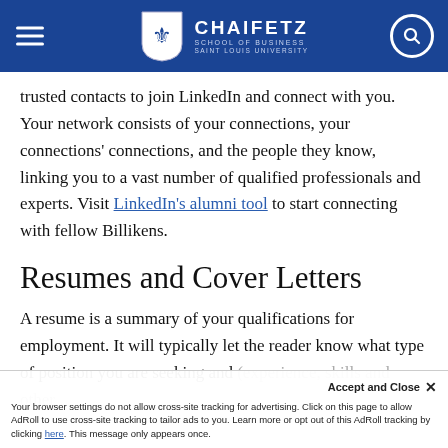Chaifetz School of Business — Saint Louis University
trusted contacts to join LinkedIn and connect with you. Your network consists of your connections, your connections' connections, and the people they know, linking you to a vast number of qualified professionals and experts. Visit LinkedIn's alumni tool to start connecting with fellow Billikens.
Resumes and Cover Letters
A resume is a summary of your qualifications for employment. It will typically let the reader know what type of position you are seeking and (experience, skills and other
Your browser settings do not allow cross-site tracking for advertising. Click on this page to allow AdRoll to use cross-site tracking to tailor ads to you. Learn more or opt out of this AdRoll tracking by clicking here. This message only appears once.